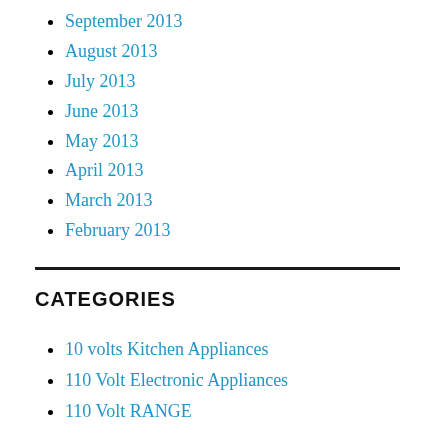September 2013
August 2013
July 2013
June 2013
May 2013
April 2013
March 2013
February 2013
CATEGORIES
10 volts Kitchen Appliances
110 Volt Electronic Appliances
110 Volt RANGE